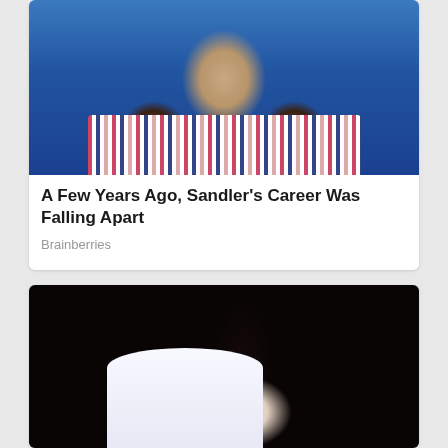[Figure (photo): Close-up photo of a bearded middle-aged man wearing a striped shirt, with a blue background]
A Few Years Ago, Sandler's Career Was Falling Apart
Brainberries
[Figure (photo): Outdoor photo of a couple embracing among trees with autumn foliage, woman with long dark hair wearing white]